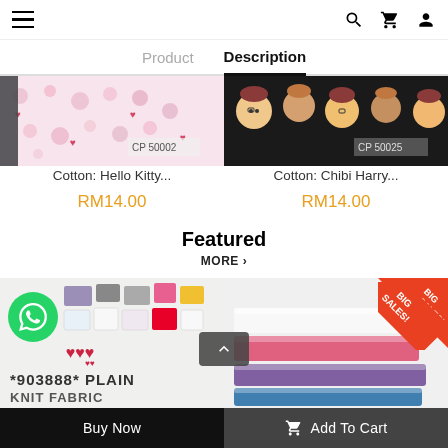≡  🔍 🛒 👤
Product  Description
[Figure (photo): Cotton fabric with Hello Kitty pattern, labeled CP 50002]
Cotton: Hello Kitty...
RM14.00
[Figure (photo): Cotton fabric with Chibi Harry Potter characters pattern, labeled CP 50025]
Cotton: Chibi Harry...
RM14.00
Featured
MORE ›
[Figure (photo): Plain fabric swatches with various colors, WhatsApp button overlay, text *903888* PLAIN and KNIT FABRIC]
[Figure (photo): Colorful rolled fabric tubes with BIG SALES! badge in corner]
Buy Now
🛒 Add To Cart